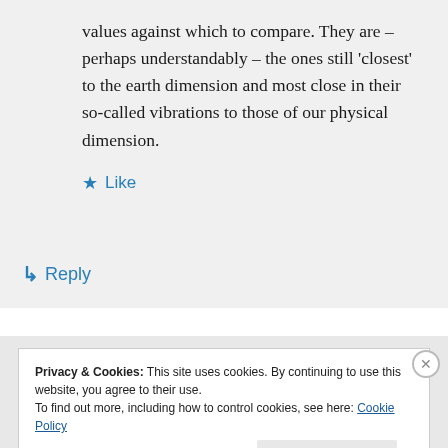values against which to compare. They are – perhaps understandably – the ones still 'closest' to the earth dimension and most close in their so-called vibrations to those of our physical dimension.
★ Like
↳ Reply
Privacy & Cookies: This site uses cookies. By continuing to use this website, you agree to their use. To find out more, including how to control cookies, see here: Cookie Policy
Close and accept